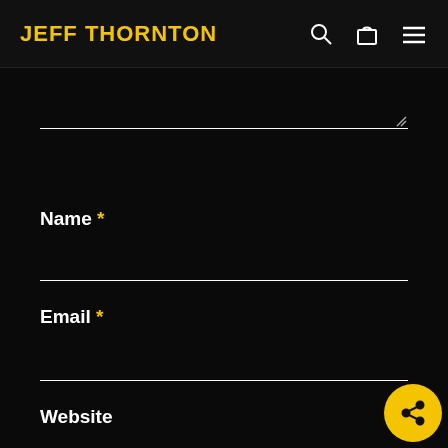JEFF THORNTON
Name *
Email *
Website